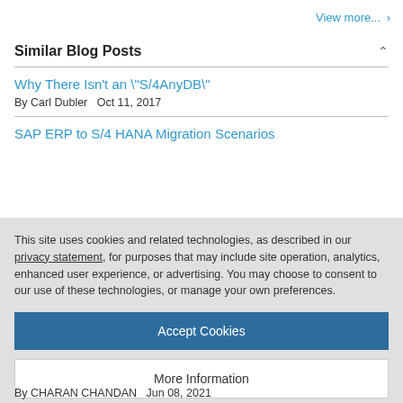View more... ›
Similar Blog Posts
Why There Isn't an "S/4AnyDB"
By Carl Dubler   Oct 11, 2017
SAP ERP to S/4 HANA Migration Scenarios
This site uses cookies and related technologies, as described in our privacy statement, for purposes that may include site operation, analytics, enhanced user experience, or advertising. You may choose to consent to our use of these technologies, or manage your own preferences.
Accept Cookies
More Information
Privacy Policy | Powered by:  TrustArc
By CHARAN CHANDAN   Jun 08, 2021